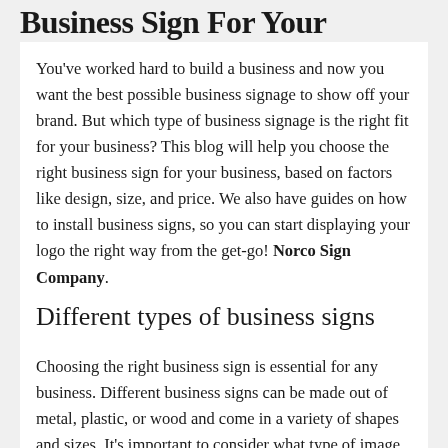Business Sign For Your Business
You've worked hard to build a business and now you want the best possible business signage to show off your brand. But which type of business signage is the right fit for your business? This blog will help you choose the right business sign for your business, based on factors like design, size, and price. We also have guides on how to install business signs, so you can start displaying your logo the right way from the get-go! Norco Sign Company.
Different types of business signs
Choosing the right business sign is essential for any business. Different business signs can be made out of metal, plastic, or wood and come in a variety of shapes and sizes. It's important to consider what type of image you want to project – a simple